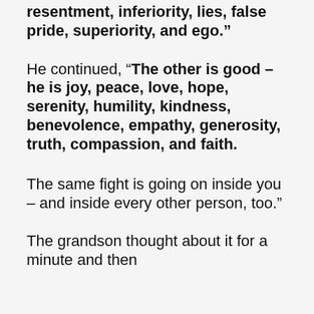resentment, inferiority, lies, false pride, superiority, and ego.”
He continued, “The other is good – he is joy, peace, love, hope, serenity, humility, kindness, benevolence, empathy, generosity, truth, compassion, and faith.
The same fight is going on inside you – and inside every other person, too.”
The grandson thought about it for a minute and then